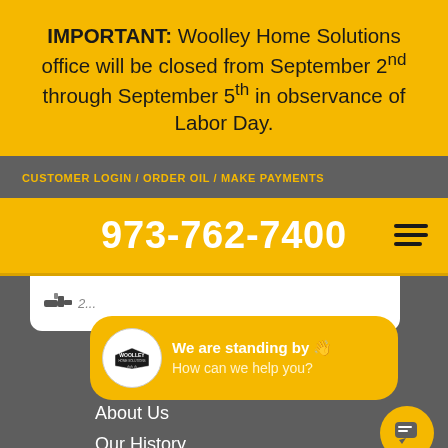IMPORTANT: Woolley Home Solutions office will be closed from September 2nd through September 5th in observance of Labor Day.
CUSTOMER LOGIN / ORDER OIL / MAKE PAYMENTS
973-762-7400
[Figure (screenshot): Woolley Home Solutions website screenshot showing a chat widget with Woolley logo badge, text 'We are standing by' and 'How can we help you?', and navigation menu items: About Us, Our History, Customer Care]
About Us
Our History
Customer Care